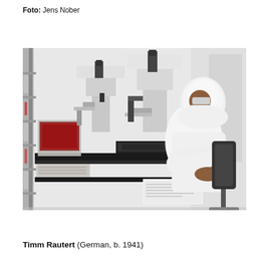Foto: Jens Nober
[Figure (photo): A person in full white cleanroom protective suit, face mask, and hood sits at a workstation in a laboratory or semiconductor cleanroom. The person is using a keyboard, with microscopes and scientific equipment visible on the workstation. A computer monitor is visible on the left side. The environment is a sterile white cleanroom setting.]
Timm Rautert (German, b. 1941)